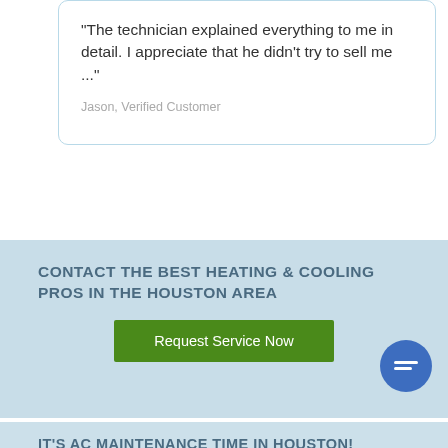"The technician explained everything to me in detail. I appreciate that he didn't try to sell me ..."
Jason, Verified Customer
CONTACT THE BEST HEATING & COOLING PROS IN THE HOUSTON AREA
Request Service Now
[Figure (other): Blue circular chat bubble icon with white message lines]
IT'S AC MAINTENANCE TIME IN HOUSTON!